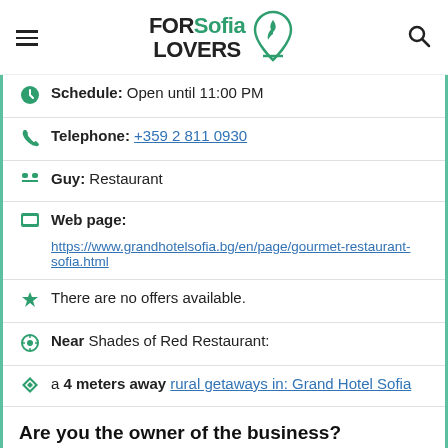FOR Sofia LOVERS
Schedule: Open until 11:00 PM
Telephone: +359 2 811 0930
Guy: Restaurant
Web page:
https://www.grandhotelsofia.bg/en/page/gourmet-restaurant-sofia.html
There are no offers available.
Near Shades of Red Restaurant:
a 4 meters away rural getaways in: Grand Hotel Sofia
Are you the owner of the business? PROMOTE IT!